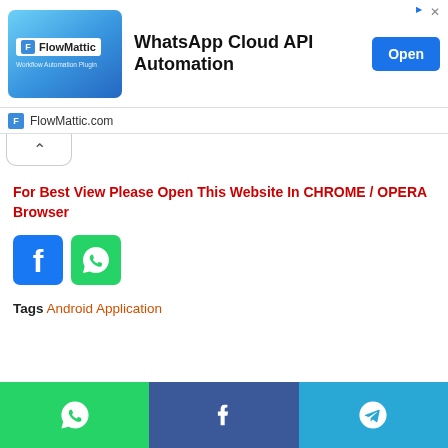[Figure (screenshot): Advertisement banner for FlowMattic WhatsApp Cloud API Automation with blue gradient logo, bold title text, and blue Open button]
FlowMattic.com
For Best View Please Open This Website In CHROME / OPERA Browser
[Figure (illustration): Facebook and WhatsApp share button icons (square rounded icons in blue and green)]
Tags Android Application
[Figure (infographic): Bottom share bar with WhatsApp (green), Facebook (blue), and Telegram (light blue) icons]